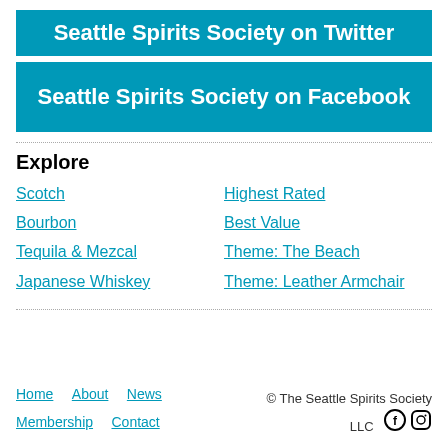Seattle Spirits Society on Twitter
Seattle Spirits Society on Facebook
Explore
Scotch
Bourbon
Tequila & Mezcal
Japanese Whiskey
Highest Rated
Best Value
Theme: The Beach
Theme: Leather Armchair
Home   About   News   Membership   Contact   © The Seattle Spirits Society LLC